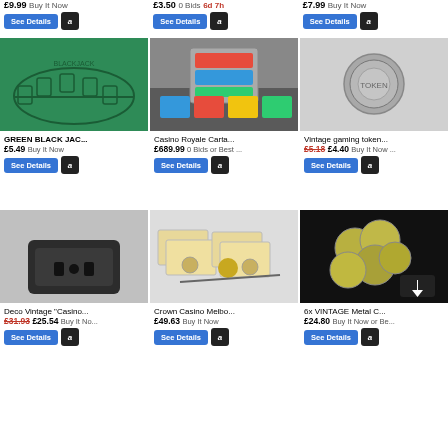£9.99 Buy It Now
£3.50 0 Bids 6d 7h
£7.99 Buy It Now
[Figure (photo): Green blackjack casino table felt layout]
[Figure (photo): Casino Royale chip set with playing cards and accessories]
[Figure (photo): Vintage gaming token coin on grey background]
GREEN BLACK JAC...
£5.49 Buy It Now
Casino Royale Carta...
£689.99 0 Bids or Best ...
Vintage gaming token...
£5.18 £4.40 Buy It Now ...
[Figure (photo): Deco vintage casino piece, dark plastic base]
[Figure (photo): Crown Casino Melbourne gaming set with boxes and items]
[Figure (photo): 6x vintage metal casino coins on black background]
Deco Vintage "Casino...
£31.93 £25.54 Buy It No...
Crown Casino Melbo...
£49.63 Buy It Now
6x VINTAGE Metal C...
£24.80 Buy It Now or Be...